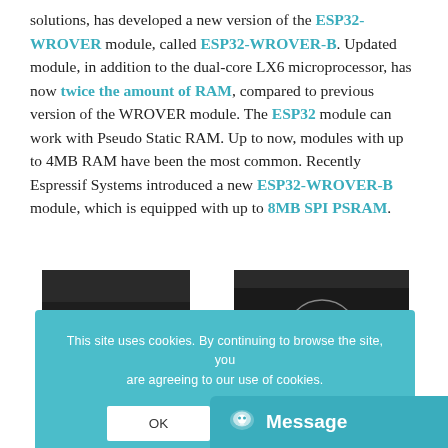solutions, has developed a new version of the ESP32-WROVER module, called ESP32-WROVER-B. Updated module, in addition to the dual-core LX6 microprocessor, has now twice the amount of RAM, compared to previous version of the WROVER module. The ESP32 module can work with Pseudo Static RAM. Up to now, modules with up to 4MB RAM have been the most common. Recently Espressif Systems introduced a new ESP32-WROVER-B module, which is equipped with up to 8MB SPI PSRAM.
[Figure (photo): Two ESP32 module photos side by side, showing top and bottom views of ESP32-WROVER and ESP32-WROVER-B modules]
This site uses cookies. By continuing to browse the site, you are agreeing to our use of cookies.